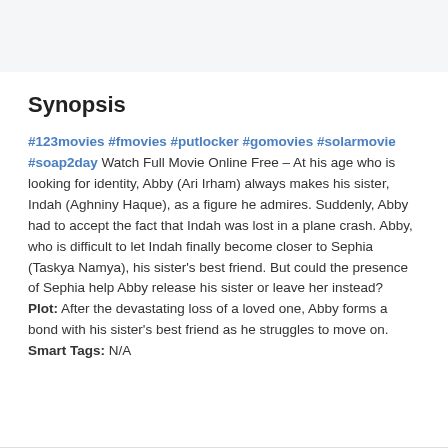Synopsis
#123movies #fmovies #putlocker #gomovies #solarmovie #soap2day Watch Full Movie Online Free – At his age who is looking for identity, Abby (Ari Irham) always makes his sister, Indah (Aghniny Haque), as a figure he admires. Suddenly, Abby had to accept the fact that Indah was lost in a plane crash. Abby, who is difficult to let Indah finally become closer to Sephia (Taskya Namya), his sister's best friend. But could the presence of Sephia help Abby release his sister or leave her instead?
Plot: After the devastating loss of a loved one, Abby forms a bond with his sister's best friend as he struggles to move on.
Smart Tags: N/A